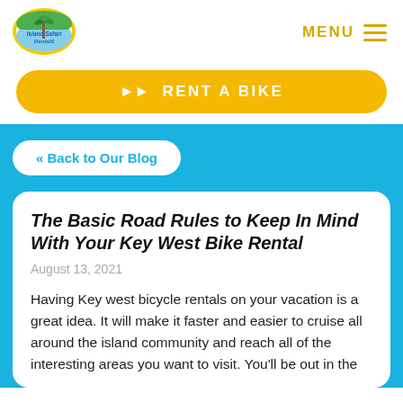[Figure (logo): Island Safari Rentals logo — oval shape with palm tree illustration and text]
MENU ☰
▶▶  RENT A BIKE
« Back to Our Blog
The Basic Road Rules to Keep In Mind With Your Key West Bike Rental
August 13, 2021
Having Key west bicycle rentals on your vacation is a great idea. It will make it faster and easier to cruise all around the island community and reach all of the interesting areas you want to visit. You'll be out in the